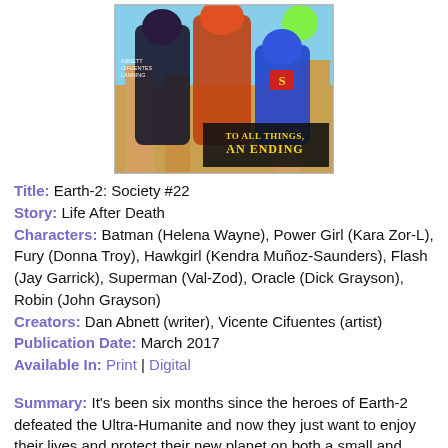[Figure (illustration): Comic book cover for Earth-2: Society #22 showing superhero characters including Batman (Helena Wayne), Power Girl, and Superman in action poses. Text reads 'TO ALL THINGS, AN ENDING'. Authors listed: Abnett, Cifuentes, Lanning.]
Title: Earth-2: Society #22
Story: Life After Death
Characters: Batman (Helena Wayne), Power Girl (Kara Zor-L), Fury (Donna Troy), Hawkgirl (Kendra Muñoz-Saunders), Flash (Jay Garrick), Superman (Val-Zod), Oracle (Dick Grayson), Robin (John Grayson)
Creators: Dan Abnett (writer), Vicente Cifuentes (artist)
Publication Date: March 2017
Available In: Print | Digital
Summary: It's been six months since the heroes of Earth-2 defeated the Ultra-Humanite and now they just want to enjoy their lives and protect their new planet on both a small and